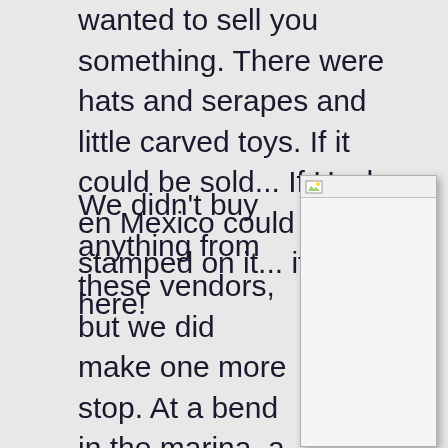wanted to sell you something. There were hats and serapes and little carved toys. If it could be sold... If Heche en Mexico could be stamped on it... it was here!
We didn't buy anything from these vendors, but we did make one more stop. At a bend in the marina, a Mexican man stood, holding two iguanas.
[Figure (photo): A broken/missing image placeholder with a small landscape icon in the top-left corner, shown as a white rectangle with a gray border and drop shadow.]